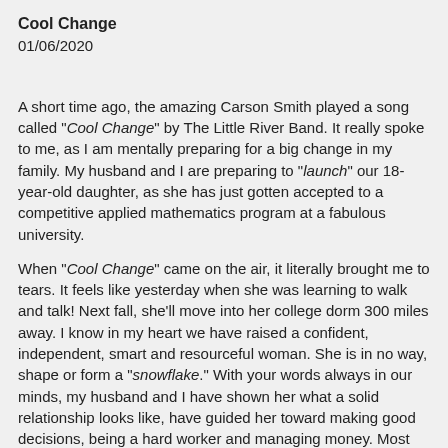Cool Change
01/06/2020
A short time ago, the amazing Carson Smith played a song called "Cool Change" by The Little River Band.  It really spoke to me, as I am mentally preparing for a big change in my family.  My husband and I are preparing to "launch" our 18-year-old daughter, as she has just gotten accepted to a competitive applied mathematics program at a fabulous university.
When "Cool Change" came on the air, it literally brought me to tears.  It feels like yesterday when she was learning to walk and talk!  Next fall, she'll move into her college dorm 300 miles away.  I know in my heart we have raised a confident, independent, smart and resourceful woman.  She is in no way, shape or form a "snowflake."  With your words always in our minds, my husband and I have shown her what a solid relationship looks like, have guided her toward making good decisions, being a hard worker and managing money.  Most importantly, we've taught her the positive consequences of being a kind and generous person.